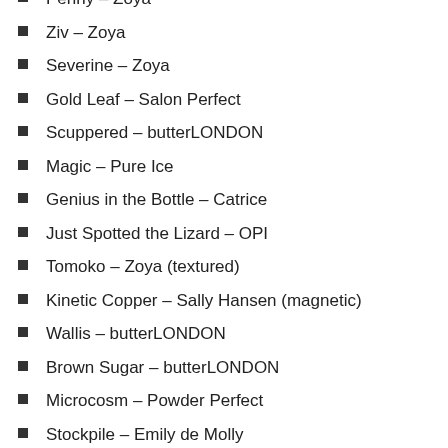Penny – Zoya
Ziv – Zoya
Severine – Zoya
Gold Leaf – Salon Perfect
Scuppered – butterLONDON
Magic – Pure Ice
Genius in the Bottle – Catrice
Just Spotted the Lizard – OPI
Tomoko – Zoya (textured)
Kinetic Copper – Sally Hansen (magnetic)
Wallis – butterLONDON
Brown Sugar – butterLONDON
Microcosm – Powder Perfect
Stockpile – Emily de Molly
Crystal Crown – Emily de Molly
Good as Gold – Essie